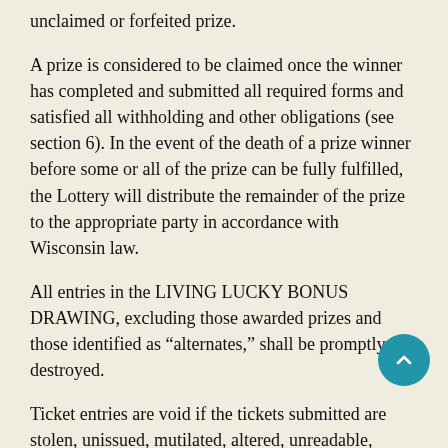unclaimed or forfeited prize.
A prize is considered to be claimed once the winner has completed and submitted all required forms and satisfied all withholding and other obligations (see section 6). In the event of the death of a prize winner before some or all of the prize can be fully fulfilled, the Lottery will distribute the remainder of the prize to the appropriate party in accordance with Wisconsin law.
All entries in the LIVING LUCKY BONUS DRAWING, excluding those awarded prizes and those identified as “alternates,” shall be promptly destroyed.
Ticket entries are void if the tickets submitted are stolen, unissued, mutilated, altered, unreadable, counterfeit, defective, multiply printed, or fail validation tests. The Lottery, at its sole discretion, reserves the right to identify any "mutilated", "unreadable", or "defective" tickets as such, based upon the facts and circumstances of the particular ticket. Such action by the Lottery is final